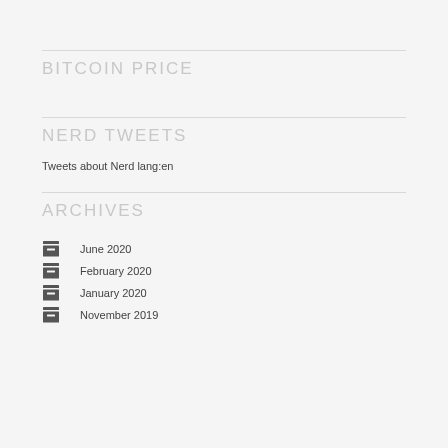BITCOIN PRICE
NERD TWEETS
Tweets about Nerd lang:en
ARCHIVES
June 2020
February 2020
January 2020
November 2019